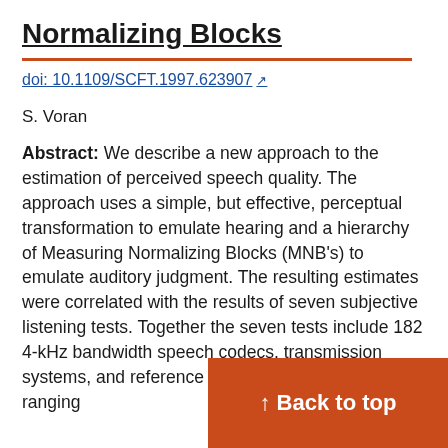Normalizing Blocks
doi: 10.1109/SCFT.1997.623907
S. Voran
Abstract: We describe a new approach to the estimation of perceived speech quality. The approach uses a simple, but effective, perceptual transformation to emulate hearing and a hierarchy of Measuring Normalizing Blocks (MNB's) to emulate auditory judgment. The resulting estimates were correlated with the results of seven subjective listening tests. Together the seven tests include 182 4-kHz bandwidth speech codecs, transmission systems, and reference conditions, with bit rates ranging